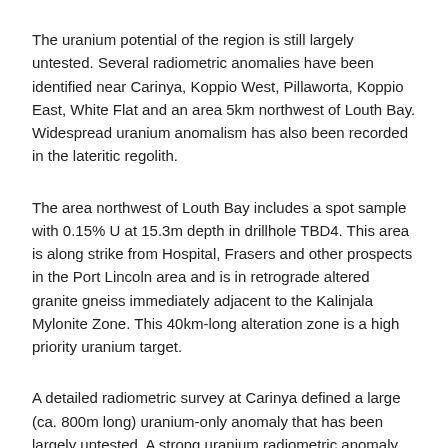The uranium potential of the region is still largely untested. Several radiometric anomalies have been identified near Carinya, Koppio West, Pillaworta, Koppio East, White Flat and an area 5km northwest of Louth Bay. Widespread uranium anomalism has also been recorded in the lateritic regolith.
The area northwest of Louth Bay includes a spot sample with 0.15% U at 15.3m depth in drillhole TBD4. This area is along strike from Hospital, Frasers and other prospects in the Port Lincoln area and is in retrograde altered granite gneiss immediately adjacent to the Kalinjala Mylonite Zone. This 40km-long alteration zone is a high priority uranium target.
A detailed radiometric survey at Carinya defined a large (ca. 800m long) uranium-only anomaly that has been largely untested. A strong uranium radiometric anomaly also occurs at Koppio where drilling has identified trace gold up to 50ppb Au and